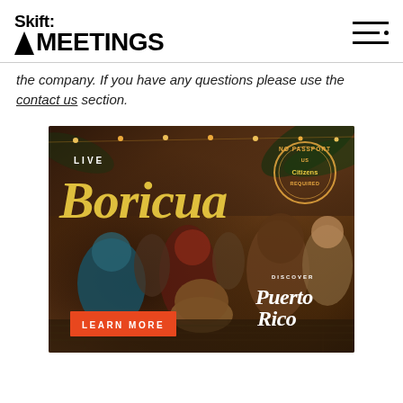Skift MEETINGS
the company. If you have any questions please use the contact us section.
[Figure (photo): Advertisement for Discover Puerto Rico featuring the text 'LIVE Boricua' with people celebrating in colorful attire, a 'NO PASSPORT REQUIRED' stamp, 'LEARN MORE' button, and 'DISCOVER Puerto Rico' branding.]